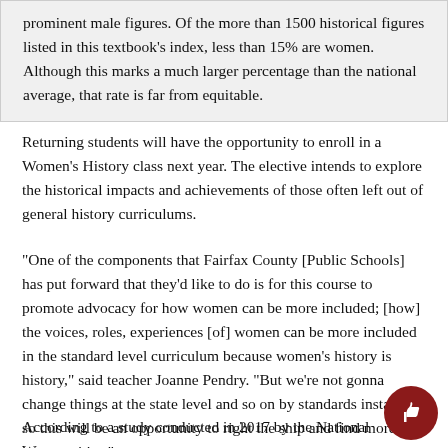prominent male figures. Of the more than 1500 historical figures listed in this textbook's index, less than 15% are women. Although this marks a much larger percentage than the national average, that rate is far from equitable.
Returning students will have the opportunity to enroll in a Women's History class next year. The elective intends to explore the historical impacts and achievements of those often left out of general history curriculums.
“One of the components that Fairfax County [Public Schools] has put forward that they’d like to do is for this course to promote advocacy for how women can be more included; [how] the voices, roles, experiences [of] women can be more included in the standard level curriculum because women’s history is history,” said teacher Joanne Pendry. “But we’re not gonna change things at the state level and so on by standards instantly, so this will be an opportunity to right the ship and find more opportunities.”
According to a study conducted in 2017 by the National Women’s History Museum, for every one fully developed historical...